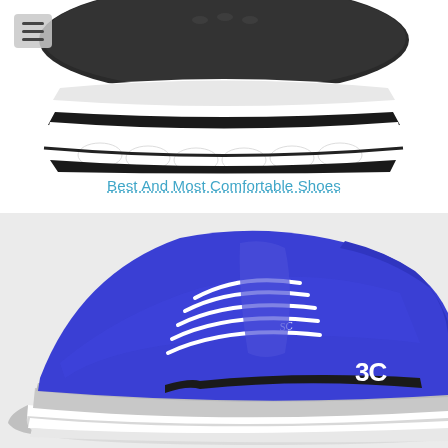[Figure (photo): Close-up photo of a black running shoe sole/bottom view, showing white cushioned outsole with black upper, on white background]
Best And Most Comfortable Shoes
[Figure (photo): Blue Under Armour Curry 3Zero basketball shoe with white laces, '3C' branding on side, grey sole, on light grey background]